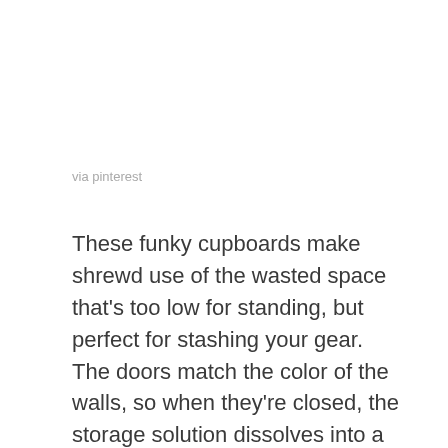via pinterest
These funky cupboards make shrewd use of the wasted space that's too low for standing, but perfect for stashing your gear. The doors match the color of the walls, so when they're closed, the storage solution dissolves into a zesty expanse of white. These cupboards might struggle to contain a full-length raincoat or ball gown, but provide ample space for hanging suits, shirts, trousers, and skirts. The drawers are a handy addition – again, all tucked into the wall, providing plenty of uncluttered floor space. The bright, airy chamber is enhanced with skylight